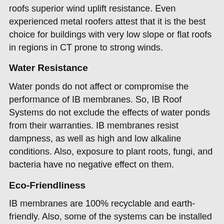roofs superior wind uplift resistance. Even experienced metal roofers attest that it is the best choice for buildings with very low slope or flat roofs in regions in CT prone to strong winds.
Water Resistance
Water ponds do not affect or compromise the performance of IB membranes. So, IB Roof Systems do not exclude the effects of water ponds from their warranties. IB membranes resist dampness, as well as high and low alkaline conditions. Also, exposure to plant roots, fungi, and bacteria have no negative effect on them.
Eco-Friendliness
IB membranes are 100% recyclable and earth-friendly. Also, some of the systems can be installed over existing roofs. This eliminates messy tear-offs, thereby reducing landfills...